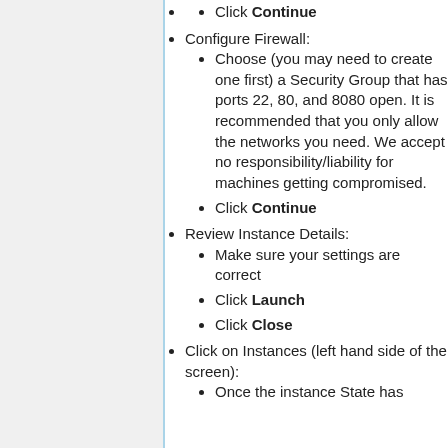Click Continue
Configure Firewall:
Choose (you may need to create one first) a Security Group that has ports 22, 80, and 8080 open. It is recommended that you only allow the networks you need. We accept no responsibility/liability for machines getting compromised.
Click Continue
Review Instance Details:
Make sure your settings are correct
Click Launch
Click Close
Click on Instances (left hand side of the screen):
Once the instance State has